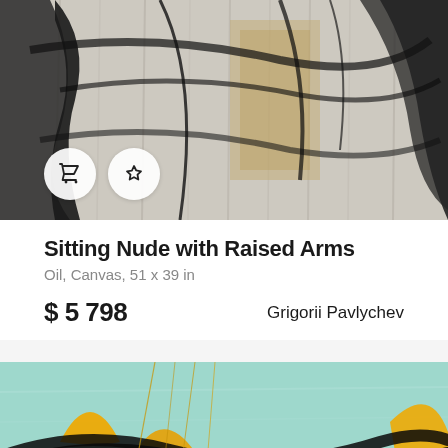[Figure (photo): Painting of a sitting nude figure with raised arms in dark tones on a light background, with expressive brushstrokes]
Sitting Nude with Raised Arms
Oil, Canvas, 51 x 39 in
$ 5 798  Grigorii Pavlychev
[Figure (photo): Abstract painting with teal/mint background featuring bold black brushstrokes and orange/yellow shapes]